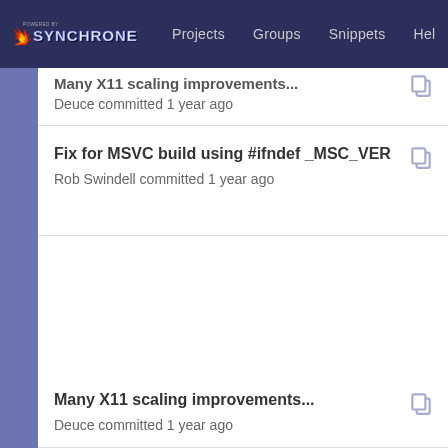Powered by SynchroNet — Projects  Groups  Snippets  Help
Many X11 scaling improvements... — Deuce committed 1 year ago
Fix for MSVC build using #ifndef _MSC_VER — Rob Swindell committed 1 year ago
Many X11 scaling improvements... — Deuce committed 1 year ago